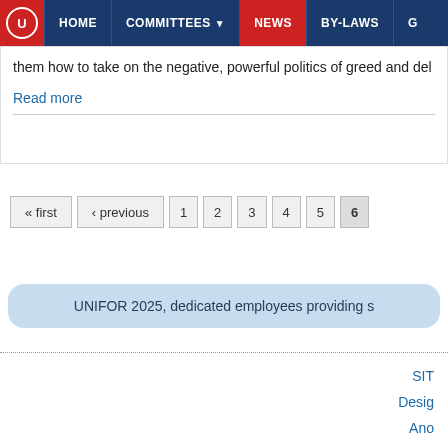HOME | COMMITTEES | NEWS | BY-LAWS
them how to take on the negative, powerful politics of greed and del
Read more
« first ‹ previous 1 2 3 4 5 6
UNIFOR 2025, dedicated employees providing s
SIT
Desig
Ano